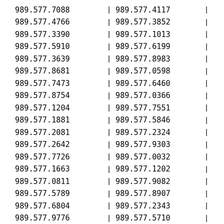| 989.577.7088 | | | 989.577.4117 | | |
| 989.577.4766 | | | 989.577.3852 | | |
| 989.577.3390 | | | 989.577.1013 | | |
| 989.577.5910 | | | 989.577.6199 | | |
| 989.577.3639 | | | 989.577.8983 | | |
| 989.577.8681 | | | 989.577.0598 | | |
| 989.577.7473 | | | 989.577.6460 | | |
| 989.577.8754 | | | 989.577.0366 | | |
| 989.577.1204 | | | 989.577.7551 | | |
| 989.577.1881 | | | 989.577.5846 | | |
| 989.577.2081 | | | 989.577.2324 | | |
| 989.577.2642 | | | 989.577.9303 | | |
| 989.577.7726 | | | 989.577.0032 | | |
| 989.577.1663 | | | 989.577.1202 | | |
| 989.577.0811 | | | 989.577.9082 | | |
| 989.577.5789 | | | 989.577.8907 | | |
| 989.577.6804 | | | 989.577.2343 | | |
| 989.577.9776 | | | 989.577.5710 | | |